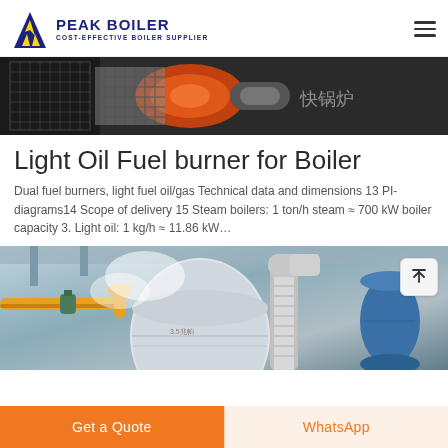PEAK BOILER COST-EFFECTIVE BOILER SUPPLIER
[Figure (photo): Industrial boiler equipment photo showing orange/red burner components and metallic grid, with Chinese text overlay 快锅炉]
Light Oil Fuel burner for Boiler
Dual fuel burners, light fuel oil/gas Technical data and dimensions 13 PI-diagrams14 Scope of delivery 15 Steam boilers: 1 ton/h steam ≈ 700 kW boiler capacity 3. Light oil: 1 kg/h ≈ 11.86 kW…
[Figure (photo): Industrial boiler installation photo showing large cylindrical boiler vessel with yellow gas pipes, metallic insulated pipes, and blue pressure tank in an industrial facility. Chinese label 3.5兆帕 visible.]